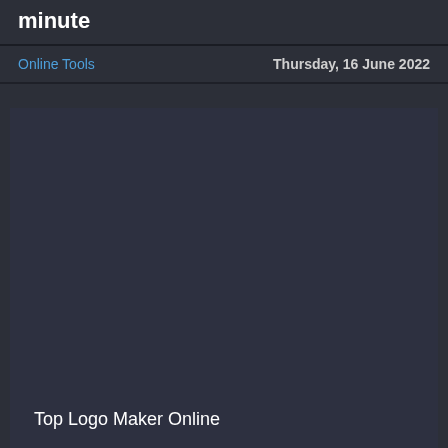minute
Online Tools    Thursday, 16 June 2022
[Figure (screenshot): Dark gray content area placeholder, mostly empty, with text 'Top Logo Maker Online' at the bottom left]
Top Logo Maker Online